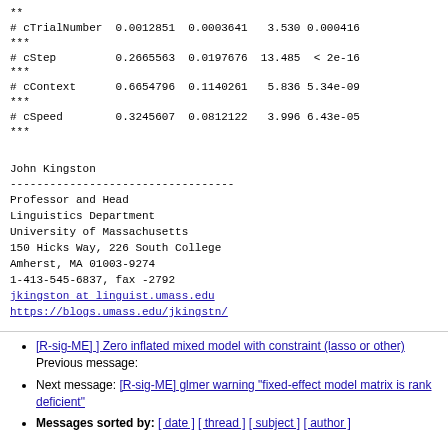**
# cTrialNumber  0.0012851  0.0003641   3.530 0.000416
***
# cStep         0.2665563  0.0197676  13.485  < 2e-16
***
# cContext      0.6654796  0.1140261   5.836 5.34e-09
***
# cSpeed        0.3245607  0.0812122   3.996 6.43e-05
***
John Kingston
----------------------------------
Professor and Head
Linguistics Department
University of Massachusetts
150 Hicks Way, 226 South College
Amherst, MA 01003-9274
1-413-545-6837, fax -2792
jkingston at linguist.umass.edu
https://blogs.umass.edu/jkingstn/
Previous message: [R-sig-ME] ] Zero inflated mixed model with constraint (lasso or other)
Next message: [R-sig-ME] glmer warning "fixed-effect model matrix is rank deficient"
Messages sorted by: [ date ] [ thread ] [ subject ] [ author ]